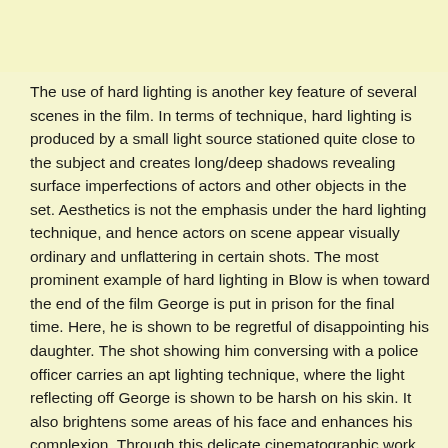The use of hard lighting is another key feature of several scenes in the film. In terms of technique, hard lighting is produced by a small light source stationed quite close to the subject and creates long/deep shadows revealing surface imperfections of actors and other objects in the set. Aesthetics is not the emphasis under the hard lighting technique, and hence actors on scene appear visually ordinary and unflattering in certain shots. The most prominent example of hard lighting in Blow is when toward the end of the film George is put in prison for the final time. Here, he is shown to be regretful of disappointing his daughter. The shot showing him conversing with a police officer carries an apt lighting technique, where the light reflecting off George is shown to be harsh on his skin. It also brightens some areas of his face and enhances his complexion. Through this delicate cinematographic work, the viewer learns that the character in frame is a hurt and heartbroken man. The utter sense of failure (to keep up the promise to his